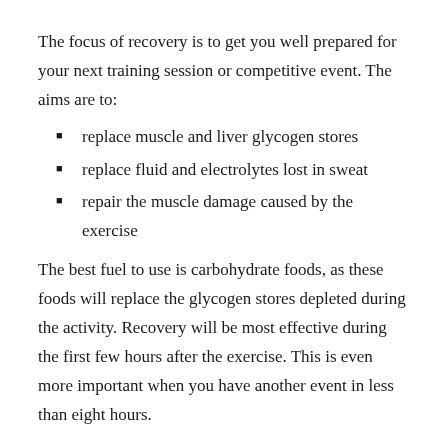The focus of recovery is to get you well prepared for your next training session or competitive event. The aims are to:
replace muscle and liver glycogen stores
replace fluid and electrolytes lost in sweat
repair the muscle damage caused by the exercise
The best fuel to use is carbohydrate foods, as these foods will replace the glycogen stores depleted during the activity. Recovery will be most effective during the first few hours after the exercise. This is even more important when you have another event in less than eight hours.
Strategies for speedy recovery
Re-hydrate quickly after a long workout.
Carbohydrate snacks that provide protein may